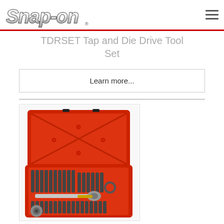[Figure (logo): Snap-on logo in metallic chrome style text]
TDRSET Tap and Die Drive Tool Set
Learn more...
[Figure (photo): Photo of Snap-on TDRSET Tap and Die Drive Tool Set in an open red carrying case, showing tap and die bits and a ratchet wrench handle]